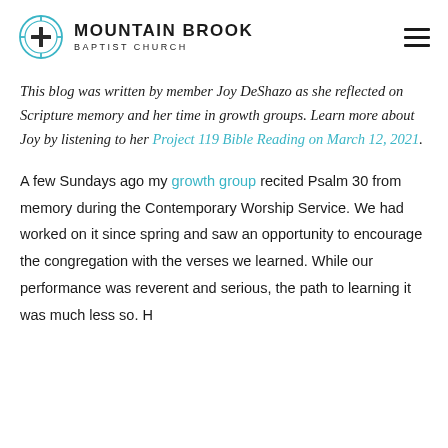MOUNTAIN BROOK BAPTIST CHURCH
This blog was written by member Joy DeShazo as she reflected on Scripture memory and her time in growth groups. Learn more about Joy by listening to her Project 119 Bible Reading on March 12, 2021.
A few Sundays ago my growth group recited Psalm 30 from memory during the Contemporary Worship Service. We had worked on it since spring and saw an opportunity to encourage the congregation with the verses we learned. While our performance was reverent and serious, the path to learning it was much less so. H...